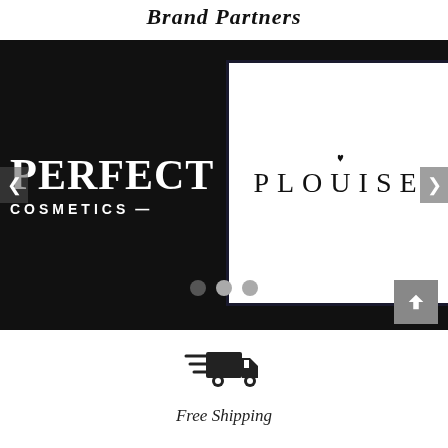Brand Partners
[Figure (screenshot): A carousel/slider showing two brand partner logos side by side. Left side: black background with 'PERFECT COSMETICS—' logo in white. Right side: white panel with dark border showing 'PLOUISE' logo with a small heart above the 'I'. Navigation arrows on left and right sides, three pagination dots at bottom, and a scroll-to-top button in bottom right corner.]
[Figure (illustration): A delivery truck icon with speed lines, representing free shipping.]
Free Shipping